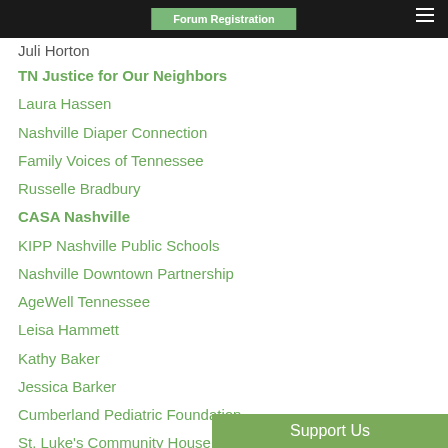Forum Registration
Juli Horton
TN Justice for Our Neighbors
Laura Hassen
Nashville Diaper Connection
Family Voices of Tennessee
Russelle Bradbury
CASA Nashville
KIPP Nashville Public Schools
Nashville Downtown Partnership
AgeWell Tennessee
Leisa Hammett
Kathy Baker
Jessica Barker
Cumberland Pediatric Foundation
St. Luke's Community House
Oasis Center
Support Us